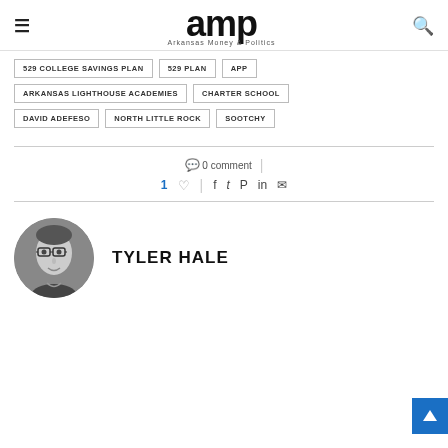amp — Arkansas Money & Politics
529 COLLEGE SAVINGS PLAN
529 PLAN
APP
ARKANSAS LIGHTHOUSE ACADEMIES
CHARTER SCHOOL
DAVID ADEFESO
NORTH LITTLE ROCK
SOOTCHY
0 comment
1 Like | social share icons
TYLER HALE
[Figure (photo): Black and white circular headshot photo of Tyler Hale, a man with glasses]